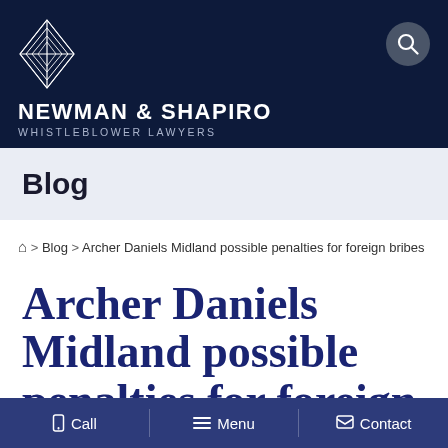NEWMAN & SHAPIRO WHISTLEBLOWER LAWYERS
Blog
🏠 > Blog > Archer Daniels Midland possible penalties for foreign bribes
Archer Daniels Midland possible penalties for foreign bribes
Call | Menu | Contact